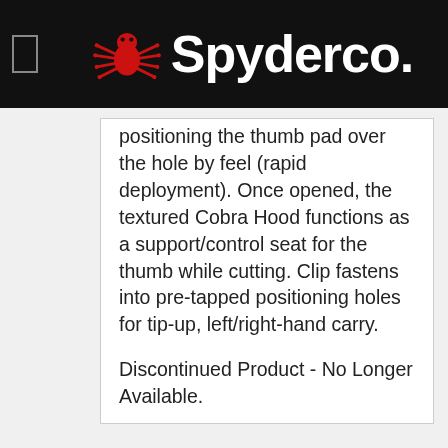[Figure (logo): Spyderco logo with red spider icon and white Spyderco text on black header bar]
positioning the thumb pad over the hole by feel (rapid deployment). Once opened, the textured Cobra Hood functions as a support/control seat for the thumb while cutting. Clip fastens into pre-tapped positioning holes for tip-up, left/right-hand carry.
Discontinued Product - No Longer Available.